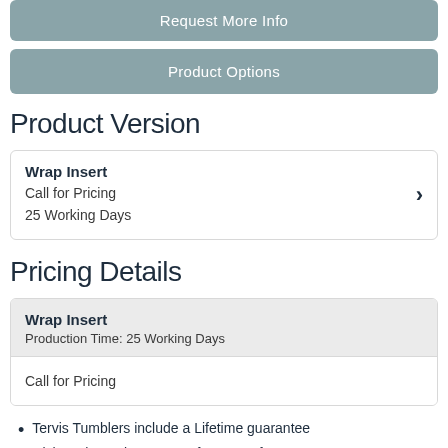Request More Info
Product Options
Product Version
Wrap Insert
Call for Pricing
25 Working Days
Pricing Details
Wrap Insert
Production Time: 25 Working Days
Call for Pricing
Tervis Tumblers include a Lifetime guarantee
Dishwasher, microwave & freezer safe